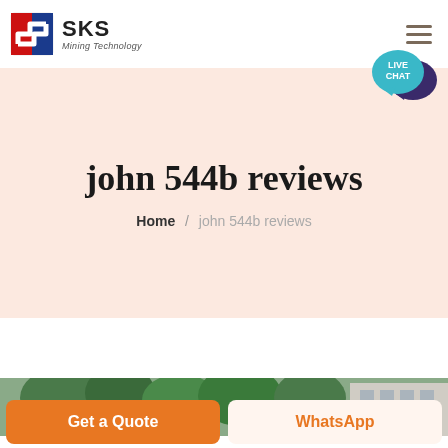[Figure (logo): SKS Mining Technology logo with red/blue geometric icon and company name]
john 544b reviews
Home / john 544b reviews
[Figure (photo): Outdoor image showing trees and a building facade]
Get a Quote
WhatsApp